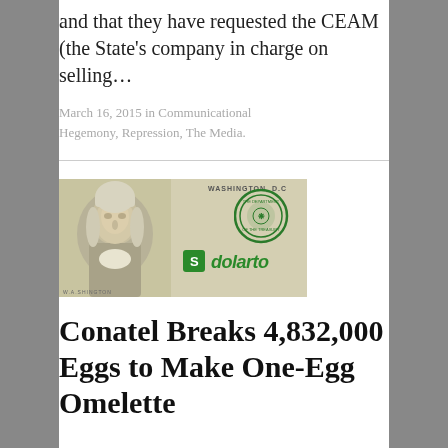and that they have requested the CEAM (the State's company in charge on selling...
March 16, 2015 in Communicational Hegemony, Repression, The Media.
[Figure (photo): Close-up photo of a US one-dollar bill showing George Washington's portrait on the left, the Treasury seal in the center-right, and a 'dolarto' watermark/logo in green at the bottom right.]
Conatel Breaks 4,832,000 Eggs to Make One-Egg Omelette